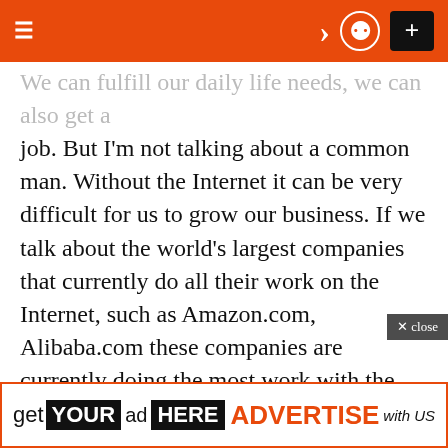≡  ) ⊙  +
We can fulfill our daily life needs, we can also get a job. But I'm not talking about a common man. Without the Internet it can be very difficult for us to grow our business. If we talk about the world's largest companies that currently do all their work on the Internet, such as Amazon.com, Alibaba.com these companies are currently doing the most work with the help of the Internet. And a lot of people depend on these websites.If the internet shuts down today, these websites will be greatly affected and all the social media that we use on a daily basis like WhatsApp, Facebook, Instagram etc. will be shut
get YOUR ad HERE ADVERTISE with US